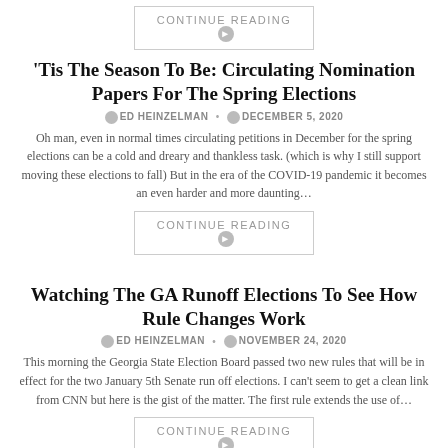CONTINUE READING
'Tis The Season To Be: Circulating Nomination Papers For The Spring Elections
ED HEINZELMAN • DECEMBER 5, 2020
Oh man, even in normal times circulating petitions in December for the spring elections can be a cold and dreary and thankless task. (which is why I still support moving these elections to fall) But in the era of the COVID-19 pandemic it becomes an even harder and more daunting…
CONTINUE READING
Watching The GA Runoff Elections To See How Rule Changes Work
ED HEINZELMAN • NOVEMBER 24, 2020
This morning the Georgia State Election Board passed two new rules that will be in effect for the two January 5th Senate run off elections. I can't seem to get a clean link from CNN but here is the gist of the matter. The first rule extends the use of…
CONTINUE READING